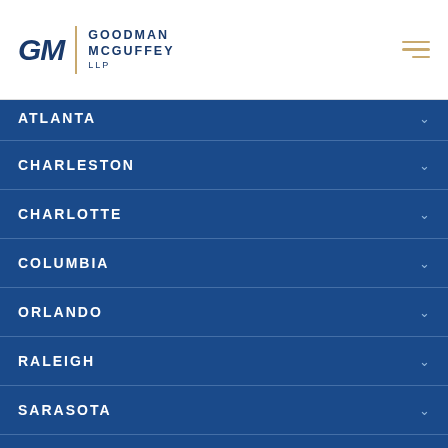Goodman McGuffey LLP
ATLANTA
CHARLESTON
CHARLOTTE
COLUMBIA
ORLANDO
RALEIGH
SARASOTA
SAVANNAH